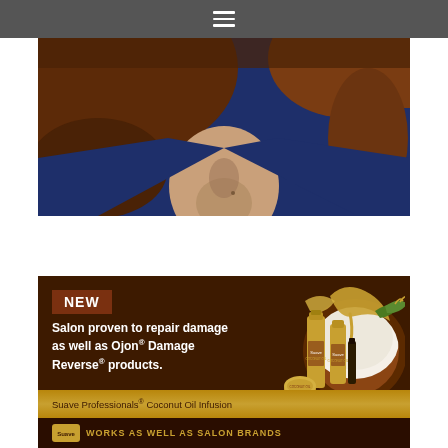[Figure (screenshot): Navigation bar with hamburger menu icon on dark gray background]
[Figure (photo): Cropped photo of a woman with brown hair wearing a navy blue top, showing neck and upper chest area]
[Figure (illustration): Suave Professionals advertisement banner with dark brown background. Shows 'NEW' label, text 'Salon proven to repair damage as well as Ojon® Damage Reverse® products.', product bottles, coconut image, gold bar with 'Suave Professionals® Coconut Oil Infusion' text, and bottom bar with Suave logo and 'WORKS AS WELL AS SALON BRANDS' text]